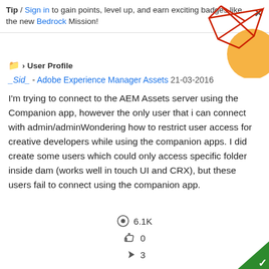Tip / Sign in to gain points, level up, and earn exciting badges like the new Bedrock Mission!
[Figure (illustration): Decorative geometric graphic with red polygon lines and orange circle shape in top right corner]
User Profile
_Sid_ - Adobe Experience Manager Assets 21-03-2016
I'm trying to connect to the AEM Assets server using the Companion app, however the only user that i can connect with admin/adminWondering how to restrict user access for creative developers while using the companion apps. I did create some users which could only access specific folder inside dam (works well in touch UI and CRX), but these users fail to connect using the companion app.
6.1K
0
3